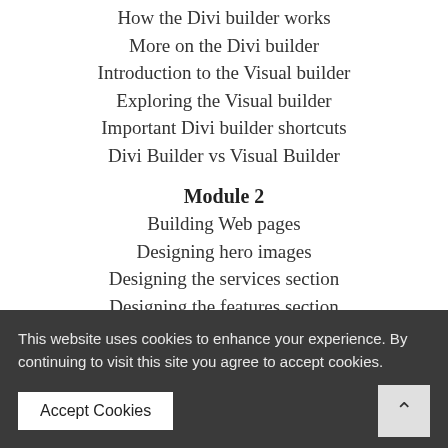How the Divi builder works
More on the Divi builder
Introduction to the Visual builder
Exploring the Visual builder
Important Divi builder shortcuts
Divi Builder vs Visual Builder
Module 2
Building Web pages
Designing hero images
Designing the services section
Designing the features section
Adding the gallery section
Designing the contact section
This website uses cookies to enhance your experience. By continuing to visit this site you agree to accept cookies.